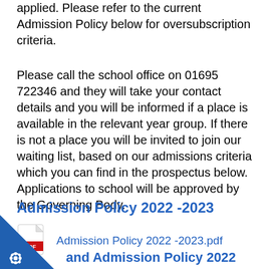applied.  Please refer to the current Admission Policy below for oversubscription criteria.
Please call the school office on 01695 722346 and they will take your contact details and you will be informed if a place is available in the relevant year group.  If there is not a place you will be invited to join our waiting list, based on our admissions criteria which you can find in the prospectus below. Applications to school will be approved by the Governing Body.
Admission Policy 2022 -2023
[Figure (other): PDF icon and link: Admission Policy 2022 -2023.pdf]
[Figure (logo): Blue corner badge with gear/cog icon]
and Admission Policy 2022